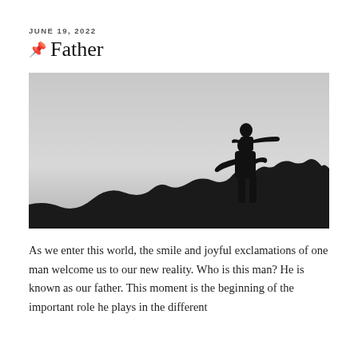JUNE 19, 2022
📌 Father
[Figure (photo): Silhouette of a father holding a child on his shoulders on top of a rocky hill, the child pointing outward, against a light grey sky background. Black and white photo.]
As we enter this world, the smile and joyful exclamations of one man welcome us to our new reality. Who is this man? He is known as our father. This moment is the beginning of the important role he plays in the different